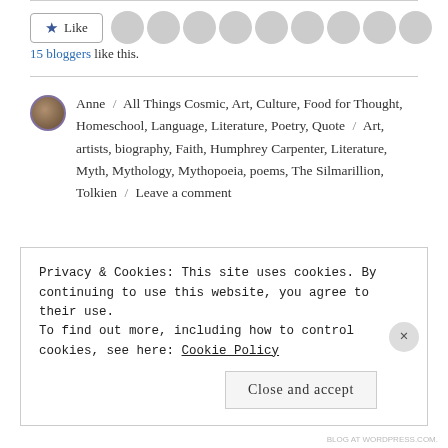[Figure (other): Like button with star icon followed by a row of 9 circular avatar photos of bloggers]
15 bloggers like this.
Anne / All Things Cosmic, Art, Culture, Food for Thought, Homeschool, Language, Literature, Poetry, Quote / Art, artists, biography, Faith, Humphrey Carpenter, Literature, Myth, Mythology, Mythopoeia, poems, The Silmarillion, Tolkien / Leave a comment
Privacy & Cookies: This site uses cookies. By continuing to use this website, you agree to their use.
To find out more, including how to control cookies, see here: Cookie Policy
Close and accept